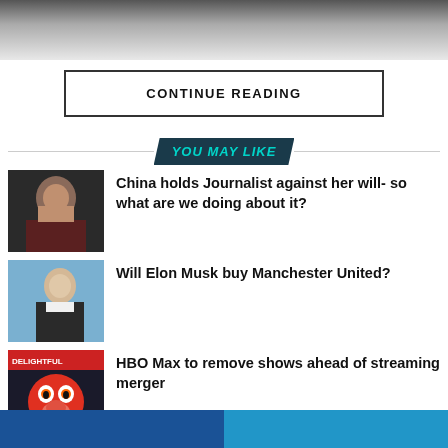[Figure (other): Faded gray gradient top area suggesting blurred/hidden article content]
CONTINUE READING
YOU MAY LIKE
[Figure (photo): Thumbnail photo of an Asian woman, dark background]
China holds Journalist against her will- so what are we doing about it?
[Figure (photo): Thumbnail photo of Elon Musk outdoors in suit]
Will Elon Musk buy Manchester United?
[Figure (photo): Thumbnail of Elmo muppet with DELIGHTFUL text visible]
HBO Max to remove shows ahead of streaming merger